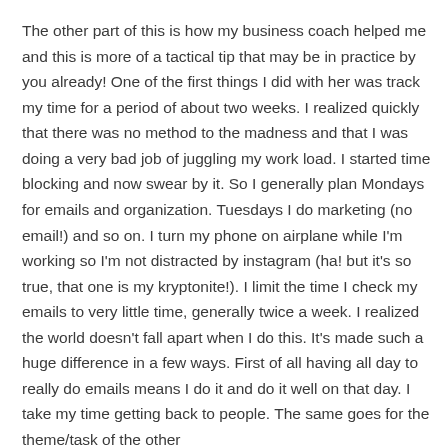The other part of this is how my business coach helped me and this is more of a tactical tip that may be in practice by you already! One of the first things I did with her was track my time for a period of about two weeks. I realized quickly that there was no method to the madness and that I was doing a very bad job of juggling my work load. I started time blocking and now swear by it. So I generally plan Mondays for emails and organization. Tuesdays I do marketing (no email!) and so on. I turn my phone on airplane while I'm working so I'm not distracted by instagram (ha! but it's so true, that one is my kryptonite!). I limit the time I check my emails to very little time, generally twice a week. I realized the world doesn't fall apart when I do this. It's made such a huge difference in a few ways. First of all having all day to really do emails means I do it and do it well on that day. I take my time getting back to people. The same goes for the theme/task of the other